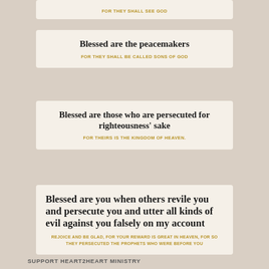FOR THEY SHALL SEE GOD
Blessed are the peacemakers
FOR THEY SHALL BE CALLED SONS OF GOD
Blessed are those who are persecuted for righteousness' sake
FOR THEIRS IS THE KINGDOM OF HEAVEN.
Blessed are you when others revile you and persecute you and utter all kinds of evil against you falsely on my account
REJOICE AND BE GLAD, FOR YOUR REWARD IS GREAT IN HEAVEN, FOR SO THEY PERSECUTED THE PROPHETS WHO WERE BEFORE YOU
SUPPORT HEART2HEART MINISTRY